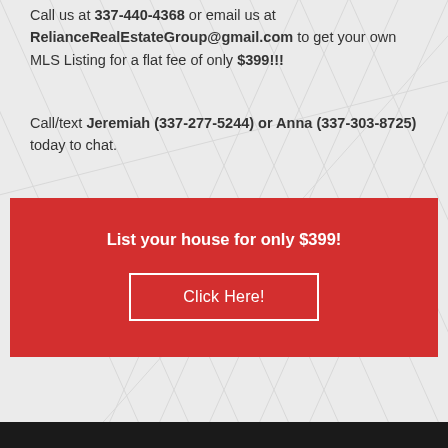Call us at 337-440-4368 or email us at RelianceRealEstateGroup@gmail.com to get your own MLS Listing for a flat fee of only $399!!!
Call/text Jeremiah (337-277-5244) or Anna (337-303-8725) today to chat.
[Figure (infographic): Red call-to-action banner with white text 'List your house for only $399!' and a white-bordered button labeled 'Click Here!']